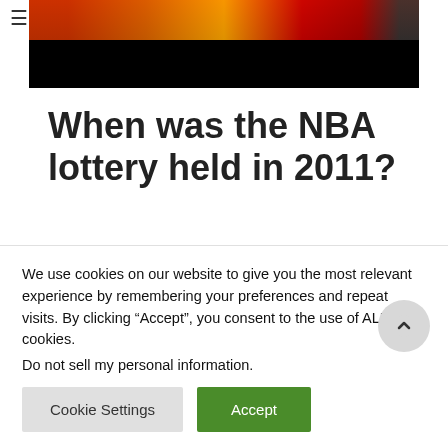≡
[Figure (photo): Partial hero image showing colorful crowd or sports scene fading to black at bottom]
When was the NBA lottery held in 2011?
As it is commonplace in the event of identical win-loss records, the NBA performed a random drawing to break the ties on April 15, 2011. The lottery was held
We use cookies on our website to give you the most relevant experience by remembering your preferences and repeat visits. By clicking "Accept", you consent to the use of ALL the cookies.
Do not sell my personal information.